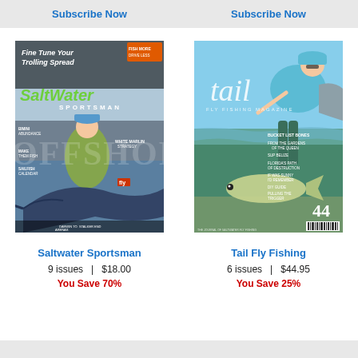Subscribe Now
Subscribe Now
[Figure (illustration): Magazine cover of Saltwater Sportsman featuring anglers with a large marlin/sailfish on a boat, with headline 'Fine Tune Your Trolling Spread']
[Figure (illustration): Magazine cover of Tail Fly Fishing issue 44, featuring an angler fishing in shallow water with underwater perspective]
Saltwater Sportsman
9 issues   |   $18.00
You Save 70%
Tail Fly Fishing
6 issues   |   $44.95
You Save 25%